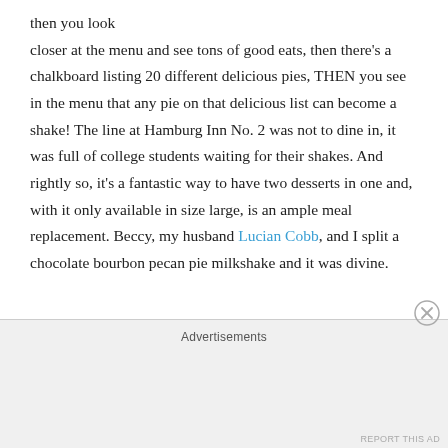then you look closer at the menu and see tons of good eats, then there's a chalkboard listing 20 different delicious pies, THEN you see in the menu that any pie on that delicious list can become a shake! The line at Hamburg Inn No. 2 was not to dine in, it was full of college students waiting for their shakes. And rightly so, it's a fantastic way to have two desserts in one and, with it only available in size large, is an ample meal replacement. Beccy, my husband Lucian Cobb, and I split a chocolate bourbon pecan pie milkshake and it was divine.
Advertisements